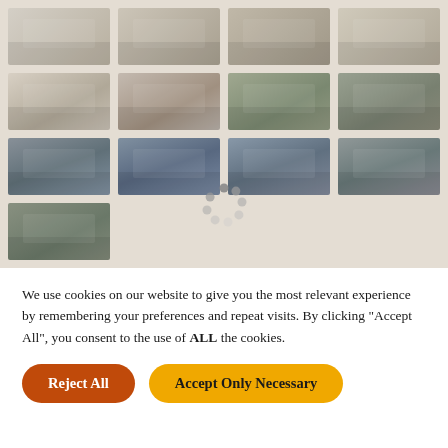[Figure (photo): Gallery of property/estate photos in a 4-column grid layout showing interior rooms, fireplaces, gardens, ponds, and trees. Images are faded/muted. A loading spinner (circular dots) overlays the third row center.]
We use cookies on our website to give you the most relevant experience by remembering your preferences and repeat visits. By clicking "Accept All", you consent to the use of ALL the cookies.
Reject All
Accept Only Necessary